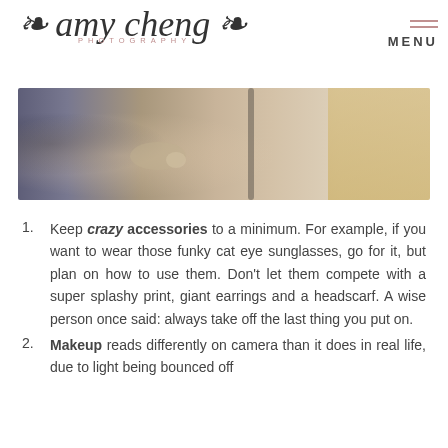amy cheng PHOTOGRAPHY — MENU
[Figure (photo): Close-up photo of a person applying something to another person's shoulder/neck area, with blonde hair visible on the right side.]
Keep crazy accessories to a minimum. For example, if you want to wear those funky cat eye sunglasses, go for it, but plan on how to use them. Don't let them compete with a super splashy print, giant earrings and a headscarf. A wise person once said: always take off the last thing you put on.
Makeup reads differently on camera than it does in real life, due to light being bounced off